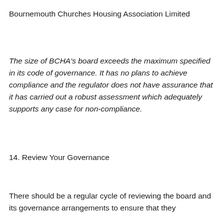Bournemouth Churches Housing Association Limited
The size of BCHA’s board exceeds the maximum specified in its code of governance. It has no plans to achieve compliance and the regulator does not have assurance that it has carried out a robust assessment which adequately supports any case for non-compliance.
14. Review Your Governance
There should be a regular cycle of reviewing the board and its governance arrangements to ensure that they